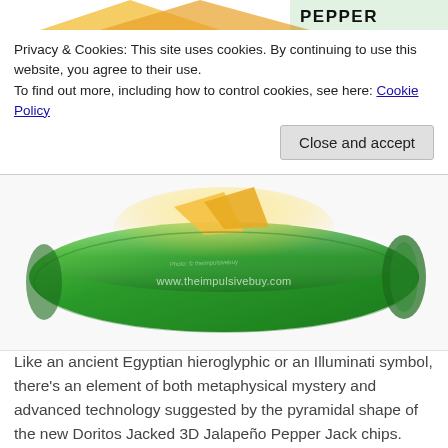[Figure (photo): Top portion of a Doritos Jacked 3D Jalapeño Pepper Jack chips bag showing the word PEPPER in bold text on a partial product photo]
Privacy & Cookies: This site uses cookies. By continuing to use this website, you agree to their use.
To find out more, including how to control cookies, see here: Cookie Policy
Close and accept
[Figure (photo): Side/back view of the Doritos Jacked 3D Jalapeño Pepper Jack chips bag lying flat, green packaging, with watermark www.theimpulsivebuy.com]
Like an ancient Egyptian hieroglyphic or an Illuminati symbol, there's an element of both metaphysical mystery and advanced technology suggested by the pyramidal shape of the new Doritos Jacked 3D Jalapeño Pepper Jack chips.
The obvious triple entendre of jacked certainly plays into the intrigue—Doritos wants you to